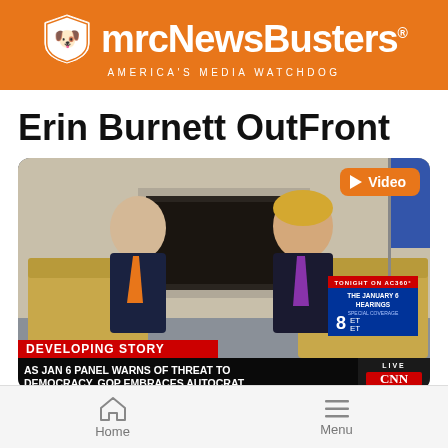mrcNewsBusters — AMERICA'S MEDIA WATCHDOG
Erin Burnett OutFront
[Figure (screenshot): CNN Erin Burnett OutFront screenshot showing two men (Viktor Orbán and Donald Trump) sitting in the Oval Office. Lower-third chyron reads 'DEVELOPING STORY' and ticker reads 'AS JAN 6 PANEL WARNS OF THREAT TO DEMOCRACY, GOP EMBRACES AUTOCRAT'. An AC360 promo appears in the corner and the CNN LIVE logo is visible. An orange 'Video' play button is shown in the top right corner of the thumbnail.]
Home   Menu